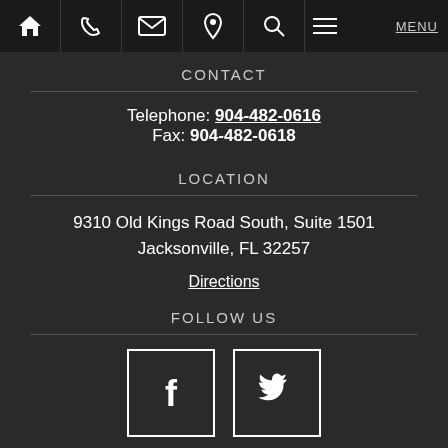Navigation bar with icons: home, phone, email, location, search, menu, MENU
CONTACT
Telephone: 904-482-0616
Fax: 904-482-0618
LOCATION
9310 Old Kings Road South, Suite 1501
Jacksonville, FL 32257
Directions
FOLLOW US
[Figure (logo): Facebook icon in square border]
[Figure (logo): Twitter bird icon in square border]